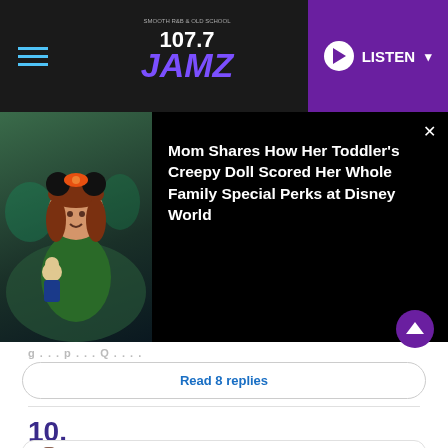107.7 JAMZ — LISTEN
[Figure (screenshot): Popup overlay showing a toddler in Minnie Mouse ears holding a doll, with headline: Mom Shares How Her Toddler's Creepy Doll Scored Her Whole Family Special Perks at Disney World]
Read 8 replies
10.
#BRINGSANCHEZH0ME
[Figure (screenshot): Bottom advertisement banner: South River Electric Membership Corporation / HARD WORK NEVER QUITS]